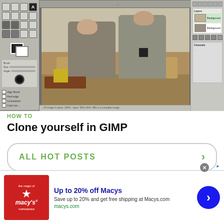[Figure (screenshot): Screenshot of GIMP image editor showing a photo of two men sitting on a couch, one using a laptop and one using a phone. The GIMP interface shows toolbox on the left, the image in the center, and a layers panel on the right.]
HOW TO
Clone yourself in GIMP
ALL HOT POSTS >
[Figure (advertisement): Macy's advertisement banner. Shows Macy's red star logo on left, headline 'Up to 20% off Macys', description 'Save up to 20% and get free shipping at Macys.com', URL 'macys.com', and a blue circular CTA button with right arrow on right.]